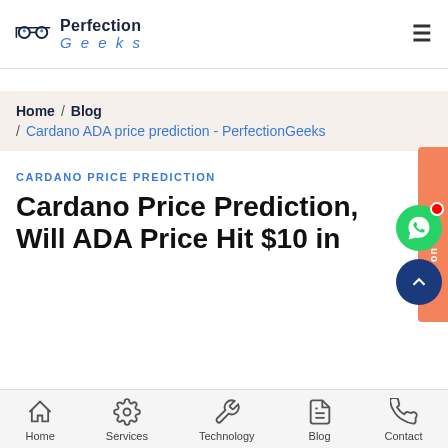Perfection Geeks
Home / Blog / Cardano ADA price prediction - PerfectionGeeks
CARDANO PRICE PREDICTION
Cardano Price Prediction, Will ADA Price Hit $10 in
Home  Services  Technology  Blog  Contact